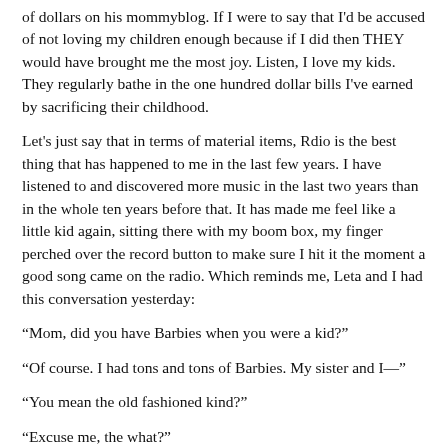of dollars on his mommyblog. If I were to say that I'd be accused of not loving my children enough because if I did then THEY would have brought me the most joy. Listen, I love my kids. They regularly bathe in the one hundred dollar bills I've earned by sacrificing their childhood.
Let's just say that in terms of material items, Rdio is the best thing that has happened to me in the last few years. I have listened to and discovered more music in the last two years than in the whole ten years before that. It has made me feel like a little kid again, sitting there with my boom box, my finger perched over the record button to make sure I hit it the moment a good song came on the radio. Which reminds me, Leta and I had this conversation yesterday:
“Mom, did you have Barbies when you were a kid?”
“Of course. I had tons and tons of Barbies. My sister and I—”
“You mean the old fashioned kind?”
“Excuse me, the what?”